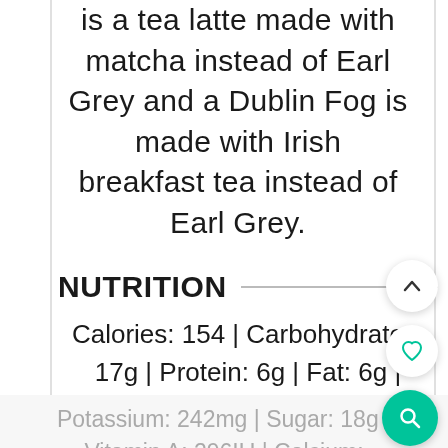is a tea latte made with matcha instead of Earl Grey and a Dublin Fog is made with Irish breakfast tea instead of Earl Grey.
NUTRITION
Calories: 154 | Carbohydrates: 17g | Protein: 6g | Fat: 6g | Saturated Fat: 3g | Cholesterol: 18mg | Sodium: 90mg |
Potassium: 242mg | Sugar: 18g | Vitamin A: 296IU | Calcium: